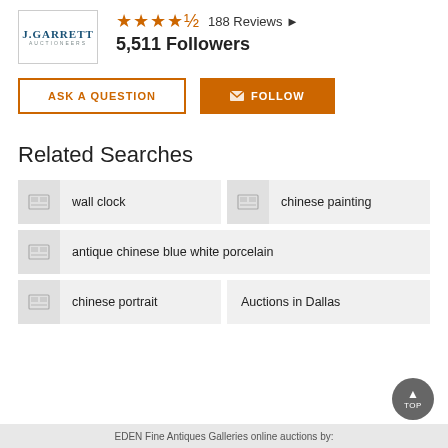[Figure (logo): J.Garrett Auctioneers logo in a bordered box]
★★★★½  188 Reviews ▶
5,511 Followers
ASK A QUESTION
✉ FOLLOW
Related Searches
wall clock
chinese painting
antique chinese blue white porcelain
chinese portrait
Auctions in Dallas
EDEN Fine Antiques Galleries online auctions by: